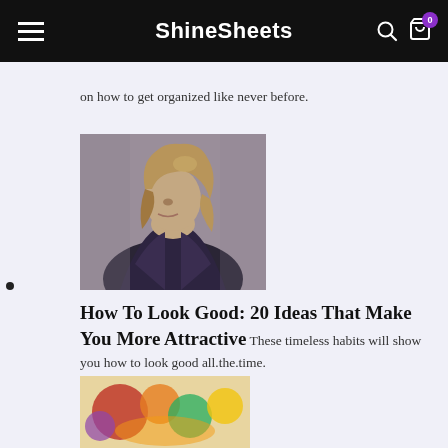ShineSheets
on how to get organized like never before.
[Figure (photo): Woman with wavy blonde hair in profile view, wearing a dark jacket, against a grey background]
How To Look Good: 20 Ideas That Make You More Attractive These timeless habits will show you how to look good all.the.time.
[Figure (photo): Colorful food or recipe image, partially visible at bottom of page]